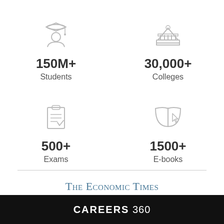[Figure (infographic): Four stat icons with numbers: graduate student icon with 150M+ Students, building/college icon with 30,000+ Colleges, clipboard/exams icon with 500+ Exams, e-book icon with 1500+ E-books]
[Figure (logo): The Economic Times logo in blue serif font]
[Figure (infographic): Four dot pagination indicators, second dot filled]
CAREERS 360